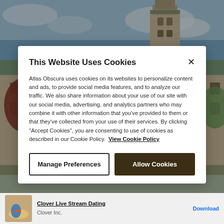[Figure (photo): Background photo of a large historic brick building with green roof and a clock tower, surrounded by autumn-colored trees under a partly cloudy sky.]
This Website Uses Cookies
Atlas Obscura uses cookies on its websites to personalize content and ads, to provide social media features, and to analyze our traffic. We also share information about your use of our site with our social media, advertising, and analytics partners who may combine it with other information that you've provided to them or that they've collected from your use of their services. By clicking "Accept Cookies", you are consenting to use of cookies as described in our Cookie Policy.  View Cookie Policy
Manage Preferences
Allow Cookies
Clover Live Stream Dating
Clover Inc.
Download